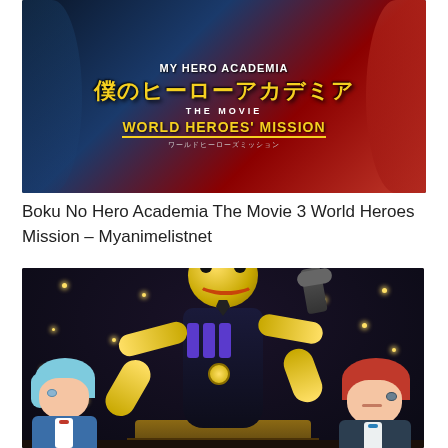[Figure (illustration): Movie poster for Boku No Hero Academia The Movie 3 World Heroes Mission, showing animated superhero characters with Japanese text and English subtitle text.]
Boku No Hero Academia The Movie 3 World Heroes Mission – Myanimelistnet
[Figure (illustration): Anime scene from Assassination Classroom showing Korosensei (yellow tentacled creature in graduation robes) at a podium, with blue-haired and red-haired student characters on either side.]